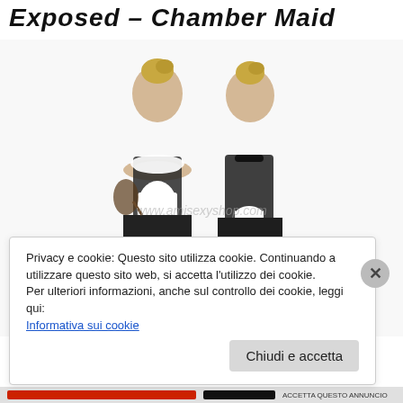Exposed – Chamber Maid
[Figure (photo): Two blonde women wearing black and white French maid costumes with lace trim, aprons, black thigh-high stockings, and accessories. A watermark reads www.amisexyshop.com. One faces forward holding a feather duster, the other faces backward showing the back of the costume.]
Privacy e cookie: Questo sito utilizza cookie. Continuando a utilizzare questo sito web, si accetta l'utilizzo dei cookie.
Per ulteriori informazioni, anche sul controllo dei cookie, leggi qui:
Informativa sui cookie
Chiudi e accetta